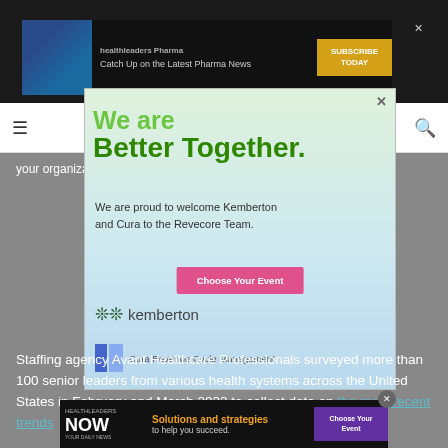[Figure (screenshot): Top banner advertisement for HealthLeaders Pharma: 'Catch Up on the Latest Pharma News' with Subscribe Today button]
healthleaders
[Figure (screenshot): Popup modal advertisement: 'We are Better Together. We are proud to welcome Kemberton and Cura to the Revecore Team.' with Choose Your Event button, Kemberton logo, Cura Revenue Cycle Management logo, and Revecore logo]
Staffing agency Avant Healthcare Professionals surveyed more than 100 senior leaders from various health systems across the United States in February and March 2022 to collect data on the most recent trends
[Figure (screenshot): Bottom banner ad: HealthLeaders NOW - Solutions and strategies to help you succeed - Choose Your Event button]